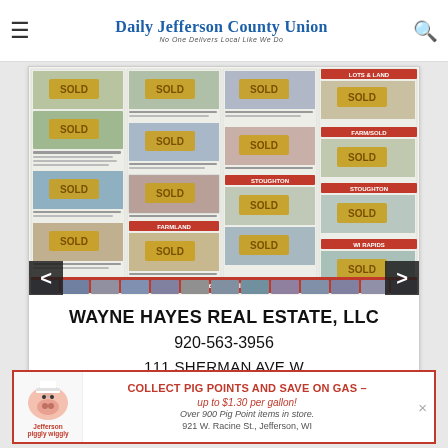Daily Jefferson County Union — No One Delivers Local Like We Do
[Figure (screenshot): Newspaper page thumbnail showing real estate listings with multiple 'SOLD' overlays on property photos, and agent headshots at bottom under 'We Need Listings' header]
WAYNE HAYES REAL ESTATE, LLC
920-563-3956
111 SHERMAN AVE W
[Figure (infographic): Jefferson Piggly Wiggly advertisement: COLLECT PIG POINTS AND SAVE ON GAS – up to $1.30 per gallon! Over 900 Pig Point items in store. 921 W. Racine St., Jefferson, WI]